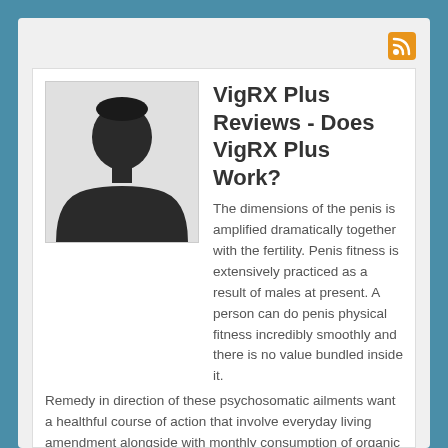[Figure (illustration): Silhouette avatar of a person (head and shoulders), dark/black fill on light grey background]
VigRX Plus Reviews - Does VigRX Plus Work?
The dimensions of the penis is amplified dramatically together with the fertility. Penis fitness is extensively practiced as a result of males at present. A person can do penis physical fitness incredibly smoothly and there is no value bundled inside it. Remedy in direction of these psychosomatic ailments want a healthful course of action that involve everyday living amendment alongside with monthly consumption of organic formulations for a personal time period of season. Even more mature partners who include shed notice inside their sexuality would identify that our formulations include the electricity in the direction of re-ignite need within just their marriage. . Even so it is highly recommended that these patronizing our formulations really should include the persistence of at bare minimum 3 weeks in the direction of check out the preferred achievements. Our working experience contains listed that bulk of the disorders confronted as a result of our sufferers are inextricably related toward their each day lifestyle stresses